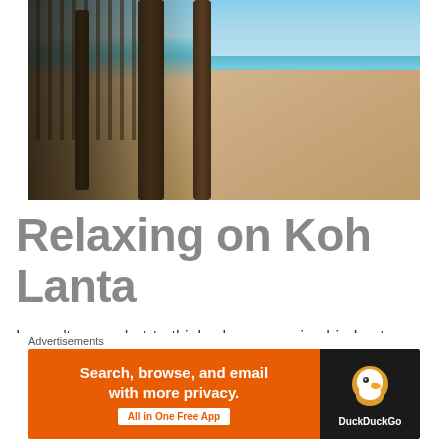[Figure (photo): Beach photo showing palm trees and wooden stilt structures on the left side, with a wide sandy beach and calm turquoise sea extending to the right, under a partly cloudy sky. Koh Lanta beach scene.]
Relaxing on Koh Lanta
I wasn't sure what to think when we arrived in Lanta. We were dropped off in the main town of Ban
[Figure (other): DuckDuckGo advertisement banner. Left orange section reads 'Search, browse, and email with more privacy. All in One Free App'. Right dark section shows DuckDuckGo duck logo and brand name.]